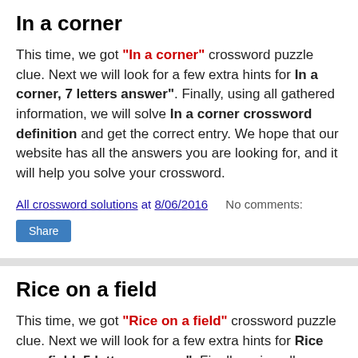In a corner
This time, we got "In a corner" crossword puzzle clue. Next we will look for a few extra hints for In a corner, 7 letters answer". Finally, using all gathered information, we will solve In a corner crossword definition and get the correct entry. We hope that our website has all the answers you are looking for, and it will help you solve your crossword.
All crossword solutions at 8/06/2016    No comments:
Share
Rice on a field
This time, we got "Rice on a field" crossword puzzle clue. Next we will look for a few extra hints for Rice on a field, 5 letters answer". Finally, using all gathered information, we will solve Rice on a field crossword definition and get the